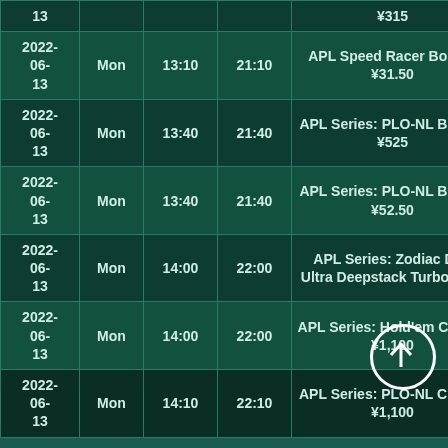| Date | Day | Start | End | Tournament |
| --- | --- | --- | --- | --- |
| 13 |  |  |  | ¥315 |
| 2022-06-13 | Mon | 13:10 | 21:10 | APL Speed Racer Bounty ¥31.50 |
| 2022-06-13 | Mon | 13:40 | 21:40 | APL Series: PLO-NL Bounty ¥525 |
| 2022-06-13 | Mon | 13:40 | 21:40 | APL Series: PLO-NL Bounty ¥52.50 |
| 2022-06-13 | Mon | 14:00 | 22:00 | APL Series: Zodiac Dog Ultra Deepstack Turbo ¥110 |
| 2022-06-13 | Mon | 14:00 | 22:00 | APL Series: Hold'em Classic ¥1,100 |
| 2022-06-13 | Mon | 14:10 | 22:10 | APL Series: PLO-NL Classic ¥1,100 |